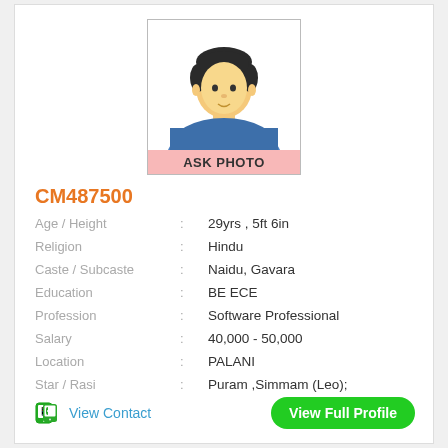[Figure (illustration): Generic male avatar placeholder with 'ASK PHOTO' label on pink background]
CM487500
Age / Height : 29yrs , 5ft 6in
Religion : Hindu
Caste / Subcaste : Naidu, Gavara
Education : BE ECE
Profession : Software Professional
Salary : 40,000 - 50,000
Location : PALANI
Star / Rasi : Puram ,Simmam (Leo);
View Contact
View Full Profile